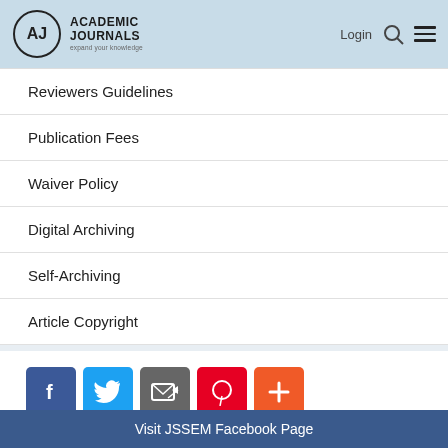[Figure (logo): Academic Journals logo with AJ in circle and tagline 'expand your knowledge']
Reviewers Guidelines
Publication Fees
Waiver Policy
Digital Archiving
Self-Archiving
Article Copyright
[Figure (infographic): Social media share icons: Facebook (blue), Twitter (light blue), Email (grey), Pinterest (red), Plus/more (orange-red)]
Visit JSSEM Facebook Page